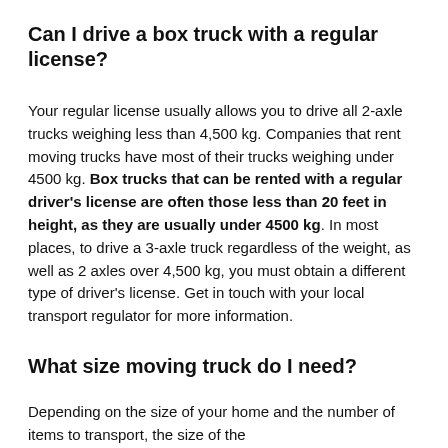Can I drive a box truck with a regular license?
Your regular license usually allows you to drive all 2-axle trucks weighing less than 4,500 kg. Companies that rent moving trucks have most of their trucks weighing under 4500 kg. Box trucks that can be rented with a regular driver's license are often those less than 20 feet in height, as they are usually under 4500 kg. In most places, to drive a 3-axle truck regardless of the weight, as well as 2 axles over 4,500 kg, you must obtain a different type of driver's license. Get in touch with your local transport regulator for more information.
What size moving truck do I need?
Depending on the size of your home and the number of items to transport, the size of the